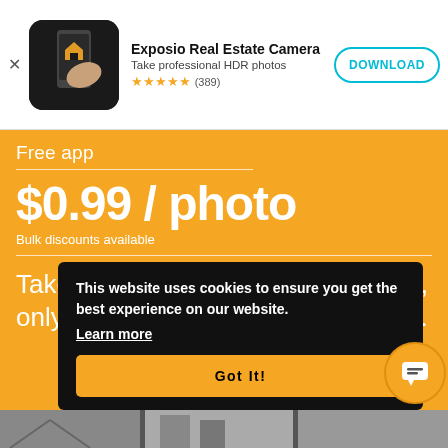[Figure (screenshot): App store banner for Exposio Real Estate Camera app with download button]
Exposio Real Estate Camera
Take professional HDR photos
★★★★★ (389)
DOWNLOAD
Free app
$0.99 / photo
Bulk discounts available
Take as many pictures as you want, only pay to remove the watermarks.
This website uses cookies to ensure you get the best experience on our website.
Learn more
Got It!